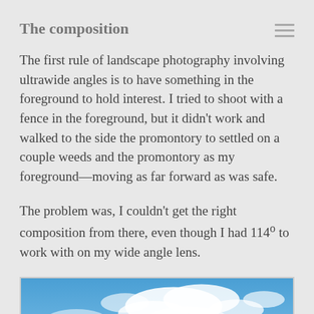The composition
The first rule of landscape photography involving ultrawide angles is to have something in the foreground to hold interest. I tried to shoot with a fence in the foreground, but it didn’t work and walked to the side the promontory to settled on a couple weeds and the promontory as my foreground—moving as far forward as was safe.
The problem was, I couldn’t get the right composition from there, even though I had 114º to work with on my wide angle lens.
[Figure (photo): Photo of blue sky with white clouds, partially visible at the bottom of the page]